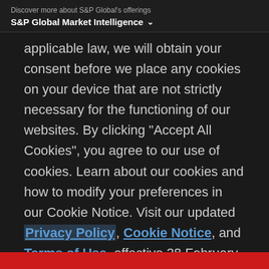Discover more about S&P Global's offerings
S&P Global Market Intelligence ▾
applicable law, we will obtain your consent before we place any cookies on your device that are not strictly necessary for the functioning of our websites. By clicking "Accept All Cookies", you agree to our use of cookies. Learn about our cookies and how to modify your preferences in our Cookie Notice. Visit our updated Privacy Policy, Cookie Notice, and Terms of Use, effective 28 February 2022.
Cookie Settings